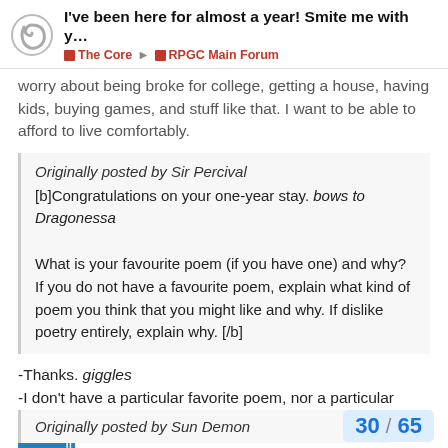I've been here for almost a year! Smite me with y... | The Core | RPGC Main Forum
worry about being broke for college, getting a house, having kids, buying games, and stuff like that. I want to be able to afford to live comfortably.
Originally posted by Sir Percival
[b]Congratulations on your one-year stay. bows to Dragonessa

What is your favourite poem (if you have one) and why? If you do not have a favourite poem, explain what kind of poem you think that you might like and why. If dislike poetry entirely, explain why. [/b]
-Thanks. giggles
-I don't have a particular favorite poem, nor a particular style. I just like poetry that is well-done. I can't explain [...]'ll know what I like about it, but if I don't, I'll just sa...
Originally posted by Sun Demon
30 / 65